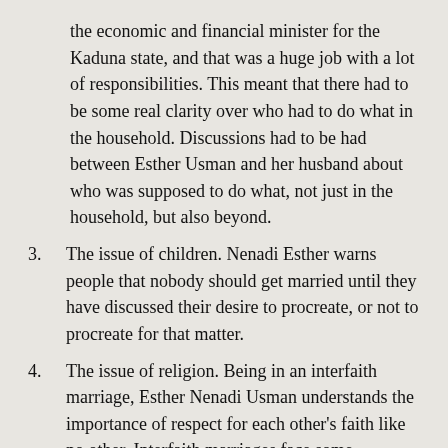the economic and financial minister for the Kaduna state, and that was a huge job with a lot of responsibilities. This meant that there had to be some real clarity over who had to do what in the household. Discussions had to be had between Esther Usman and her husband about who was supposed to do what, not just in the household, but also beyond.
3. The issue of children. Nenadi Esther warns people that nobody should get married until they have discussed their desire to procreate, or not to procreate for that matter.
4. The issue of religion. Being in an interfaith marriage, Esther Nenadi Usman understands the importance of respect for each other's faith like no other. Interfaith marriages face some significant challenges and it is important